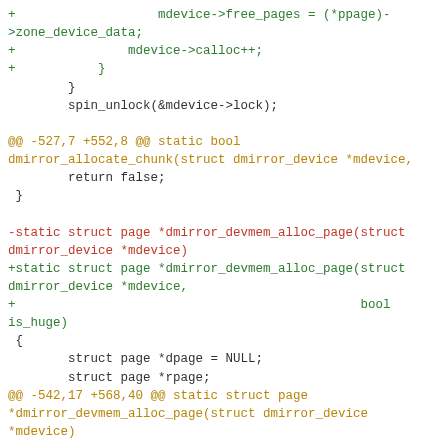Code diff showing changes to dmirror_devmem_alloc_page function signature and related code in C source file